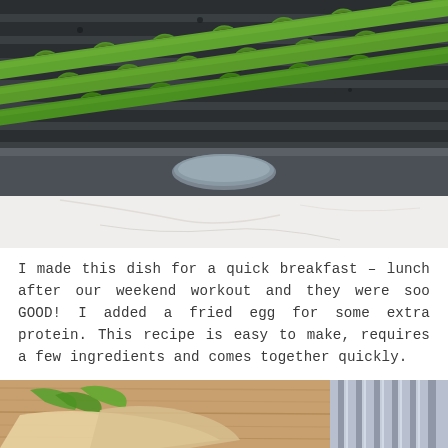[Figure (photo): Close-up photo of green asparagus spears lying on a dark ridged cast iron grill pan, with a marble surface visible below the pan.]
I made this dish for a quick breakfast – lunch after our weekend workout and they were soo GOOD! I added a fried egg for some extra protein. This recipe is easy to make, requires a few ingredients and comes together quickly.
[Figure (photo): Close-up photo of a wooden cutting board with asparagus and other food ingredients, with a striped cloth napkin visible on the right side.]